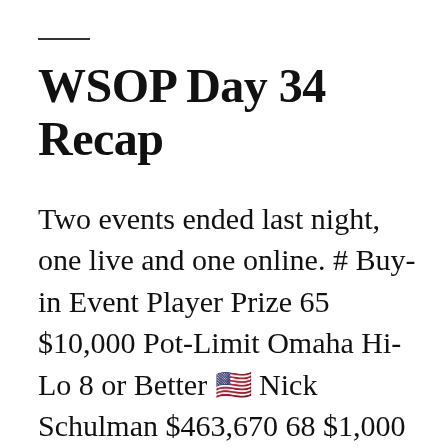WSOP Day 34 Recap
Two events ended last night, one live and one online. # Buy-in Event Player Prize 65 $10,000 Pot-Limit Omaha Hi-Lo 8 or Better 🇺🇸 Nick Schulman $463,670 68 $1,000 WSOP.com ONLINE No-Limit Hold’em Championship 🇺🇸 Nicholas Paris $303,730 “That’s